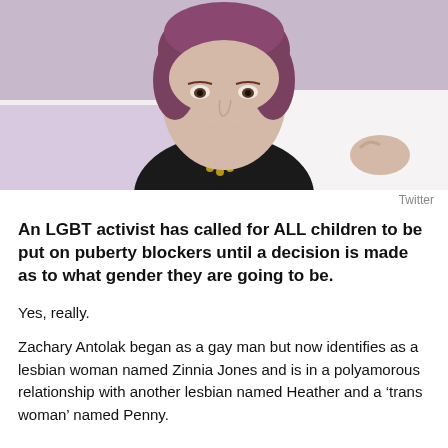[Figure (photo): Person with short reddish-purple hair lying on a white pillow, wearing a black top with gold buttons, photographed from above against white bedding and purple background.]
Twitter
An LGBT activist has called for ALL children to be put on puberty blockers until a decision is made as to what gender they are going to be.
Yes, really.
Zachary Antolak began as a gay man but now identifies as a lesbian woman named Zinnia Jones and is in a polyamorous relationship with another lesbian named Heather and a ‘trans woman’ named Penny.